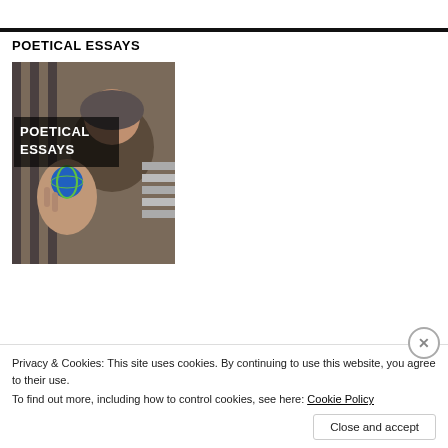POETICAL ESSAYS
[Figure (illustration): Book cover image showing a person holding a small globe with text overlay 'POETICAL ESSAYS' in bold white letters on dark background]
Privacy & Cookies: This site uses cookies. By continuing to use this website, you agree to their use.
To find out more, including how to control cookies, see here: Cookie Policy
Close and accept